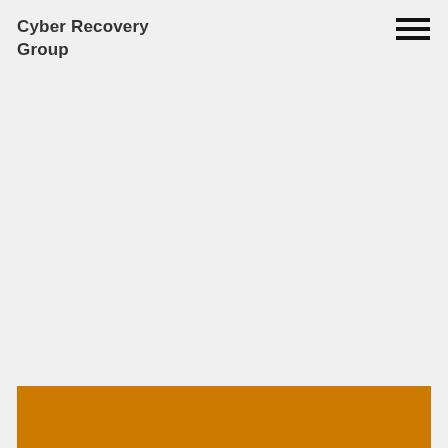Cyber Recovery Group
[Figure (other): Hamburger menu icon — three horizontal black bars stacked vertically, positioned in the top-right corner]
[Figure (other): Orange/amber colored rectangular block spanning the bottom of the page]